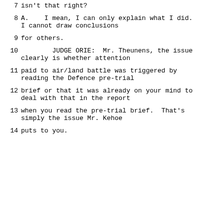7	isn't that right?
8	A.	I mean, I can only explain what I did. I cannot draw conclusions
9	for others.
10	JUDGE ORIE:  Mr. Theunens, the issue clearly is whether attention
11	paid to air/land battle was triggered by reading the Defence pre-trial
12	brief or that it was already on your mind to deal with that in the report
13	when you read the pre-trial brief.  That's simply the issue Mr. Kehoe
14	puts to you.